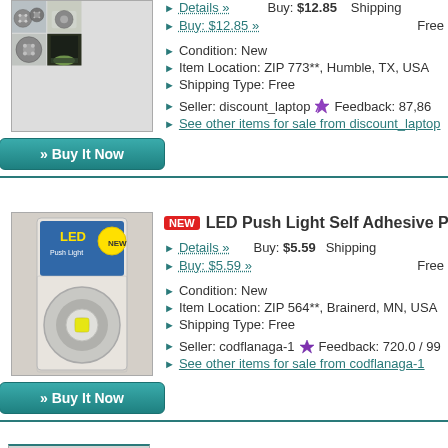[Figure (photo): Product photo grid showing LED push lights from multiple angles]
» Buy It Now
Details »   Buy: $12.85   Shipping
Buy: $12.85 »   Free
Condition: New
Item Location: ZIP 773**, Humble, TX, USA
Shipping Type: Free
Seller: discount_laptop  Feedback: 87,86
See other items for sale from discount_laptop
LED Push Light Self Adhesive Pu…
[Figure (photo): LED Push Light product in retail packaging]
» Buy It Now
Details »   Buy: $5.59   Shipping
Buy: $5.59 »   Free
Condition: New
Item Location: ZIP 564**, Brainerd, MN, USA
Shipping Type: Free
Seller: codflanaga-1  Feedback: 720.0 / 99
See other items for sale from codflanaga-1